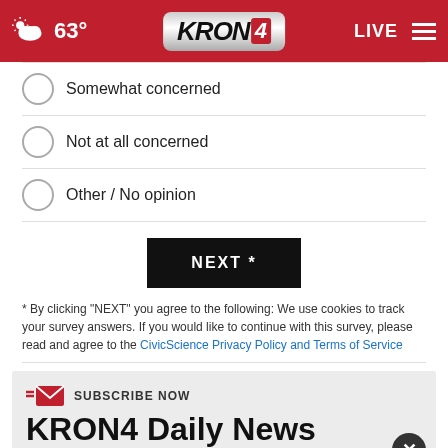KRON4 | 63° | LIVE
Somewhat concerned
Not at all concerned
Other / No opinion
NEXT *
* By clicking "NEXT" you agree to the following: We use cookies to track your survey answers. If you would like to continue with this survey, please read and agree to the CivicScience Privacy Policy and Terms of Service
[Figure (screenshot): Subscribe Now banner for KRON4 Daily News with email icon, large bold title text, and a photo of two men alongside a purple advertisement block with a close (X) button]